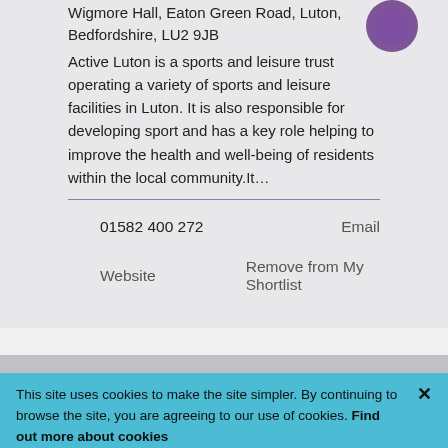Wigmore Hall, Eaton Green Road, Luton, Bedfordshire, LU2 9JB
Active Luton is a sports and leisure trust operating a variety of sports and leisure facilities in Luton. It is also responsible for developing sport and has a key role helping to improve the health and well-being of residents within the local community.It…
01582 400 272
Email
Website
Remove from My Shortlist
This site uses cookies to make the site simpler. By continuing to browse the site, you are agreeing to our use of cookies. Find out more about cookies